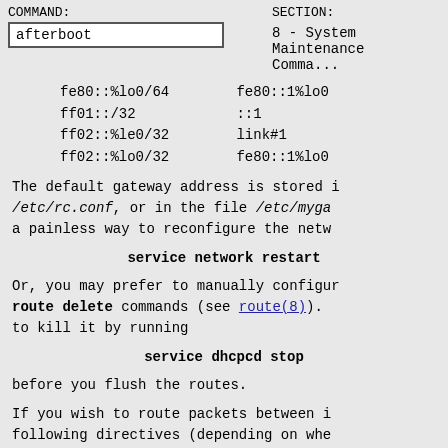COMMAND: afterboot   SECTION: 8 - System Maintenance Commands
fe80::%lo0/64   fe80::1%lo0
ff01::/32       ::1
ff02::%le0/32   link#1
ff02::%lo0/32   fe80::1%lo0
The default gateway address is stored in /etc/rc.conf, or in the file /etc/myga... a painless way to reconfigure the network:
service network restart
Or, you may prefer to manually configure route delete commands (see route(8)). to kill it by running
service dhcpcd stop
before you flush the routes.
If you wish to route packets between interfaces, add the following directives (depending on whether IPv6 is required) to /etc/sysctl.conf: